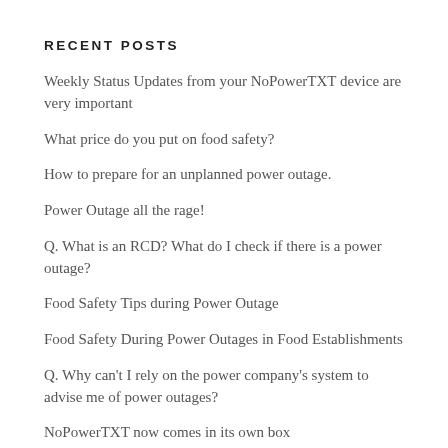RECENT POSTS
Weekly Status Updates from your NoPowerTXT device are very important
What price do you put on food safety?
How to prepare for an unplanned power outage.
Power Outage all the rage!
Q. What is an RCD? What do I check if there is a power outage?
Food Safety Tips during Power Outage
Food Safety During Power Outages in Food Establishments
Q. Why can't I rely on the power company's system to advise me of power outages?
NoPowerTXT now comes in its own box